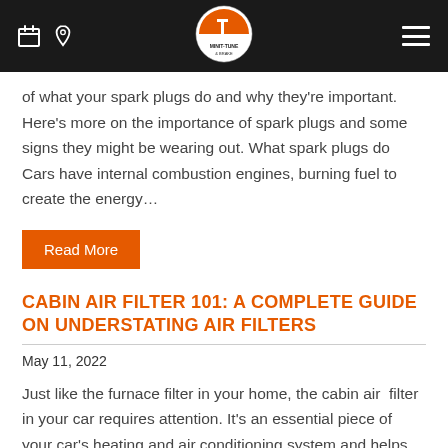Minit-Tune & Brake header bar with logo
of what your spark plugs do and why they're important. Here's more on the importance of spark plugs and some signs they might be wearing out. What spark plugs do Cars have internal combustion engines, burning fuel to create the energy…
Read More
CABIN AIR FILTER 101: A COMPLETE GUIDE ON UNDERSTATING AIR FILTERS
May 11, 2022
Just like the furnace filter in your home, the cabin air  filter in your car requires attention. It's an essential piece of your car's heating and air conditioning system and helps remove allergens and other contaminants from the air you breathe. A clean and well-